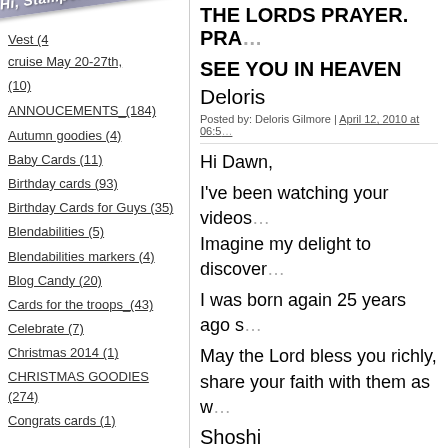[Figure (illustration): Diagonal ribbon banner with text 'Hi, Stampers!' in italic bold style, overlapping top-left corner]
Vest (4)
cruise May 20-27th, (10)
ANNOUCEMENTS_(184)
Autumn goodies (4)
Baby Cards (11)
Birthday cards (93)
Birthday Cards for Guys (35)
Blendabilities (5)
Blendabilities markers (4)
Blog Candy (20)
Cards for the troops_(43)
Celebrate (7)
Christmas 2014 (1)
CHRISTMAS GOODIES (274)
Congrats cards (1)
THE LORDS PRAYER. PRA…
SEE YOU IN HEAVEN
Deloris
Posted by: Deloris Gilmore | April 12, 2010 at 06:5…
Hi Dawn,
I've been watching your videos… Imagine my delight to discover…
I was born again 25 years ago s…
May the Lord bless you richly, share your faith with them as w…
Shoshi
Posted by: Shoshi | June 07, 2010 at 05:28 PM
Hey Dawn, great videos on Y…